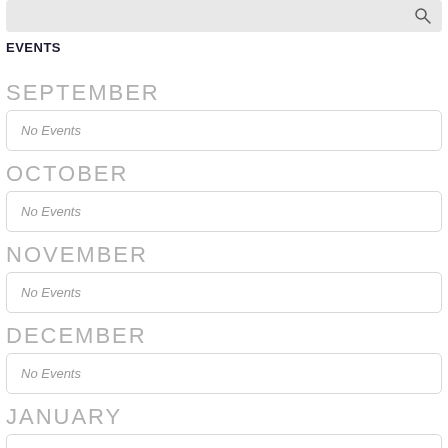[Figure (other): Search bar with magnifying glass icon]
EVENTS
SEPTEMBER
No Events
OCTOBER
No Events
NOVEMBER
No Events
DECEMBER
No Events
JANUARY
No Events